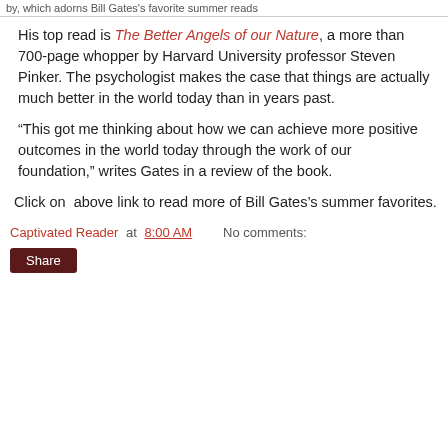by, which adorns Bill Gates's favorite summer reads
His top read is The Better Angels of our Nature, a more than 700-page whopper by Harvard University professor Steven Pinker. The psychologist makes the case that things are actually much better in the world today than in years past.
“This got me thinking about how we can achieve more positive outcomes in the world today through the work of our foundation,” writes Gates in a review of the book.
Click on  above link to read more of Bill Gates’s summer favorites.
Captivated Reader at 8:00 AM    No comments:
Share